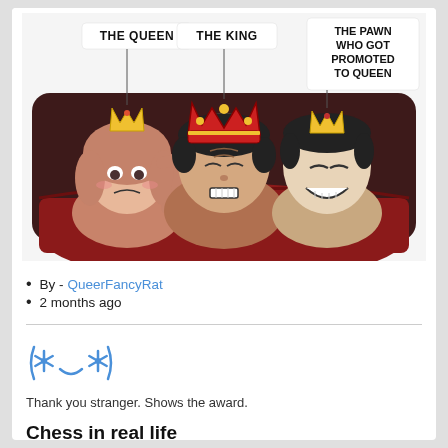[Figure (illustration): A comic illustration showing three characters in a bed with dark red blankets. Left character is an anime-style girl with pink-brown hair and a small gold crown labeled 'THE QUEEN'. Center character is a stressed man wearing a large red and gold crown labeled 'THE KING'. Right character is a smiling man with a small gold crown labeled 'THE PAWN WHO GOT PROMOTED TO QUEEN'. The scene is a humorous chess metaphor.]
By - QueerFancyRat
2 months ago
[Figure (other): Reddit award icon: blue asterisk/star symbols on either side with a smiling face in the middle, forming a smiley face emoji style award badge in blue.]
Thank you stranger. Shows the award.
Chess in real life